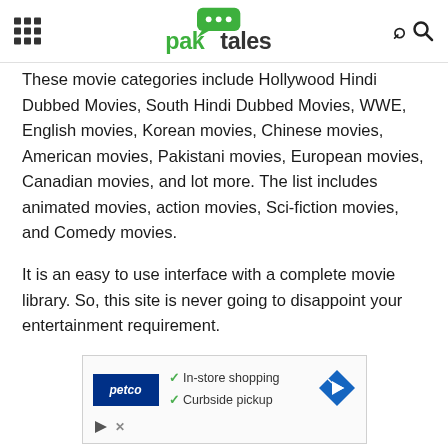paktales
These movie categories include Hollywood Hindi Dubbed Movies, South Hindi Dubbed Movies, WWE, English movies, Korean movies, Chinese movies, American movies, Pakistani movies, European movies, Canadian movies, and lot more. The list includes animated movies, action movies, Sci-fiction movies, and Comedy movies.
It is an easy to use interface with a complete movie library. So, this site is never going to disappoint your entertainment requirement.
[Figure (other): Petco advertisement banner showing in-store shopping and curbside pickup options with Petco logo and navigation arrow icon]